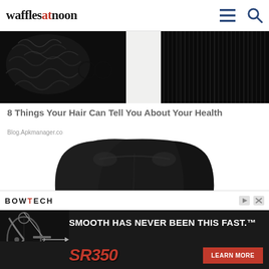wafflesatnoon
[Figure (photo): Close-up photo of black hair, showing curly hair on the left side and straight hair on the right side, on a white background in the middle]
8 Things Your Hair Can Tell You About Your Health
Blog.Apkmanager.co
[Figure (photo): Black leather executive office chair, shown from above/behind angle on white background]
[Figure (infographic): Bowtech advertisement banner. Text: SMOOTH HAS NEVER BEEN THIS FAST. SR350. LEARN MORE. Features image of a compound bow on left side.]